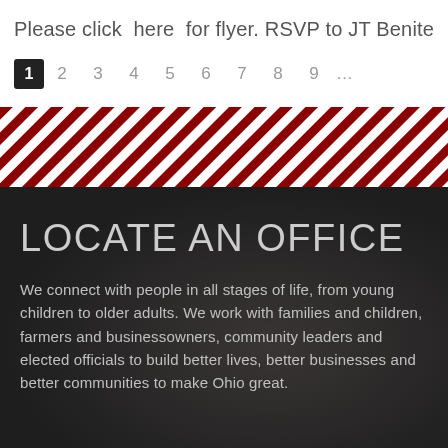Please click here for flyer. RSVP to JT Benite
1 2 3 4 5 6 7 8 9 …
[Figure (illustration): Diagonal red and white candy-cane stripe pattern banner]
LOCATE AN OFFICE
We connect with people in all stages of life, from young children to older adults. We work with families and children, farmers and businessowners, community leaders and elected officials to build better lives, better businesses and better communities to make Ohio great.